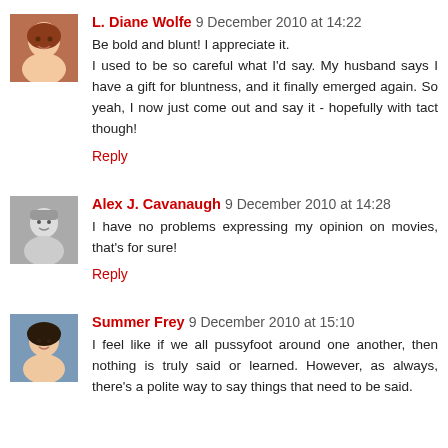[Figure (photo): Avatar photo of L. Diane Wolfe, a woman with red/auburn hair]
L. Diane Wolfe 9 December 2010 at 14:22
Be bold and blunt! I appreciate it.
I used to be so careful what I'd say. My husband says I have a gift for bluntness, and it finally emerged again. So yeah, I now just come out and say it - hopefully with tact though!
Reply
[Figure (photo): Avatar photo of Alex J. Cavanaugh, a black and white image]
Alex J. Cavanaugh 9 December 2010 at 14:28
I have no problems expressing my opinion on movies, that's for sure!
Reply
[Figure (photo): Avatar photo of Summer Frey, a woman with dark hair]
Summer Frey 9 December 2010 at 15:10
I feel like if we all pussyfoot around one another, then nothing is truly said or learned. However, as always, there's a polite way to say things that need to be said.